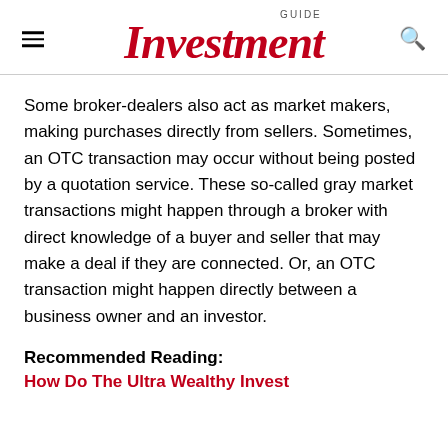GUIDE Investment
Some broker-dealers also act as market makers, making purchases directly from sellers. Sometimes, an OTC transaction may occur without being posted by a quotation service. These so-called gray market transactions might happen through a broker with direct knowledge of a buyer and seller that may make a deal if they are connected. Or, an OTC transaction might happen directly between a business owner and an investor.
Recommended Reading:
How Do The Ultra Wealthy Invest